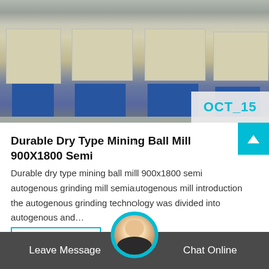[Figure (photo): Industrial mining ball mill machines in a factory floor, cream/beige colored machines with red valves on blue metal stands, grey concrete floor background. Date badge 'OCT_15' in teal text on light grey background in bottom-right corner.]
Durable Dry Type Mining Ball Mill 900X1800 Semi
Durable dry type mining ball mill 900x1800 semi autogenous grinding mill semiautogenous mill introduction the autogenous grinding technology was divided into autogenous and…
Get Price
Leave Message   Chat Online